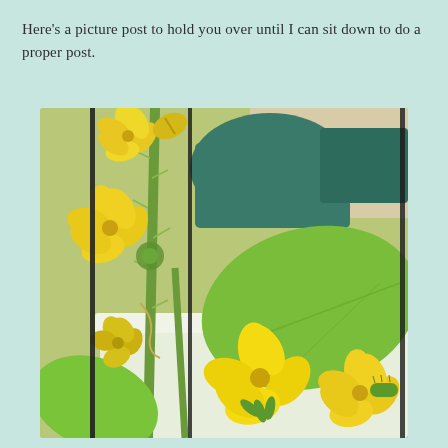Here's a picture post to hold you over until I can sit down to do a proper post.
[Figure (photo): Close-up photograph of cucumber plant with yellow flowers, green stems and leaves, growing in white rectangular planter. Teal/green pots visible in background.]